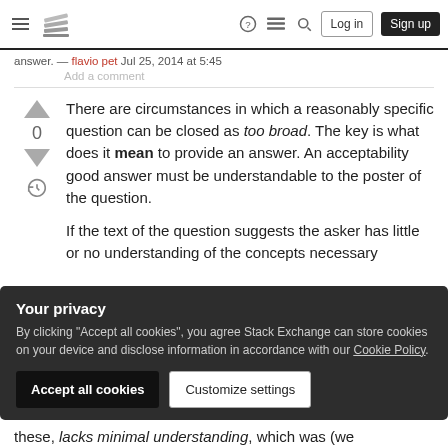Stack Exchange navigation bar with hamburger menu, logo, icons, Log in and Sign up buttons
answer. — flavio pet Jul 25, 2014 at 5:45
Add a comment
There are circumstances in which a reasonably specific question can be closed as too broad. The key is what does it mean to provide an answer. An acceptability good answer must be understandable to the poster of the question.
If the text of the question suggests the asker has little or no understanding of the concepts necessary
Your privacy
By clicking "Accept all cookies", you agree Stack Exchange can store cookies on your device and disclose information in accordance with our Cookie Policy.
these, lacks minimal understanding, which was (we